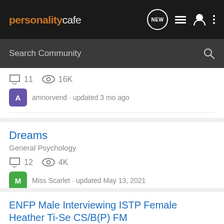personalitycafe
Search Community
11 comments · 16K views · amnorvend · updated 3 mo ago
Dreams
General Psychology
12 comments · 4K views · Miss Scarlet · updated May 13, 2021
ENFP Male Interviewing ISTP Female Heather Ti-Se CS/B(P) FM
ISTP Forum - The Mechanics